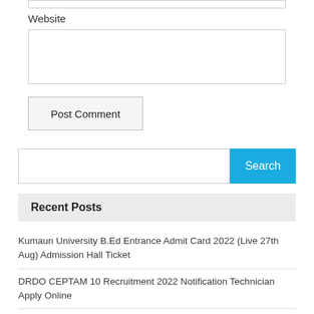Website
Post Comment
Search
Recent Posts
Kumaun University B.Ed Entrance Admit Card 2022 (Live 27th Aug) Admission Hall Ticket
DRDO CEPTAM 10 Recruitment 2022 Notification Technician Apply Online
Kumaun University B.Ed Entrance Exam 2022 (till 24th Aug) kuntl.net